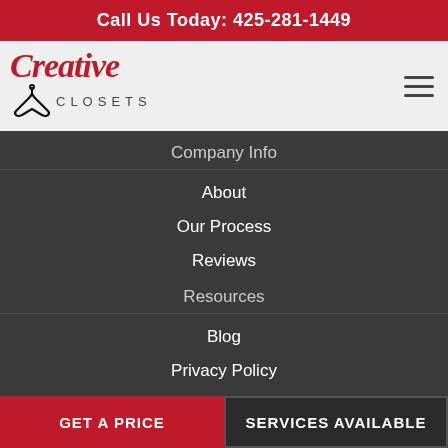Call Us Today: 425-281-1449
[Figure (logo): Creative Closets logo with hanger icon, red script 'Creative' above 'CLOSETS' in grey]
Company Info
About
Our Process
Reviews
Resources
Blog
Privacy Policy
Contact
GET A PRICE
SERVICES AVAILABLE